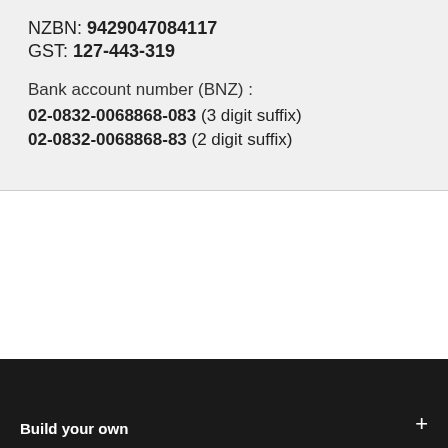NZBN: 9429047084117
GST: 127-443-319

Bank account number (BNZ) :
02-0832-0068868-083 (3 digit suffix)
02-0832-0068868-83 (2 digit suffix)
Build your own +